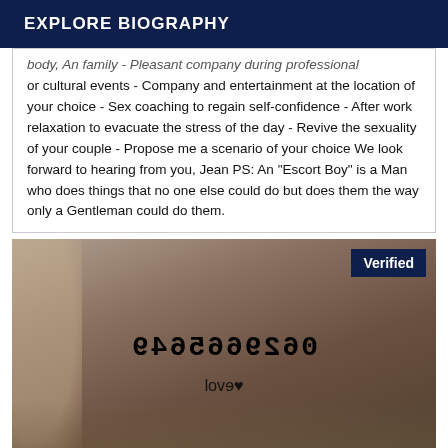EXPLORE BIOGRAPHY
body, An family - Pleasant company during professional or cultural events - Company and entertainment at the location of your choice - Sex coaching to regain self-confidence - After work relaxation to evacuate the stress of the day - Revive the sexuality of your couple - Propose me a scenario of your choice We look forward to hearing from you, Jean PS: An "Escort Boy" is a Man who does things that no one else could do but does them the way only a Gentleman could do them.
[Figure (photo): A photo showing a mirrored/reversed phone number '0629665649' overlaid on an image, with a heart and 'love' text, and a 'Verified' badge in the top right corner.]